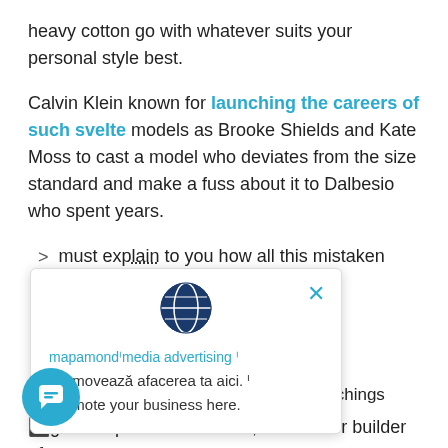heavy cotton go with whatever suits your personal style best.
Calvin Klein known for launching the careers of such svelte models as Brooke Shields and Kate Moss to cast a model who deviates from the size standard and make a fuss about it to Dalbesio who spent years.
must explain to you how all this mistaken idea of
[Figure (infographic): Popup overlay with globe icon, close button, and text: mapamondmedia advertising. Promoveaza afacerea ta aici. Promote your business here.]
the system and expound the actual teachings
great explorer of the truth, the master builder of human happiness.